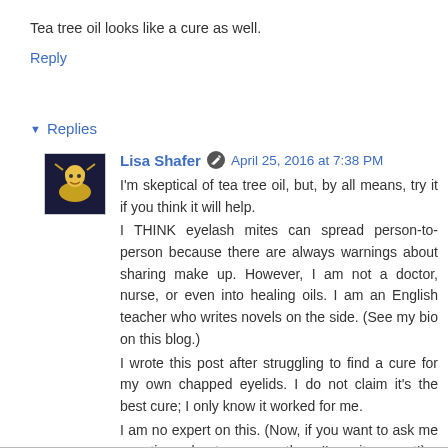Tea tree oil looks like a cure as well.
Reply
Replies
Lisa Shafer  April 25, 2016 at 7:38 PM
I'm skeptical of tea tree oil, but, by all means, try it if you think it will help.
I THINK eyelash mites can spread person-to-person because there are always warnings about sharing make up. However, I am not a doctor, nurse, or even into healing oils. I am an English teacher who writes novels on the side. (See my bio on this blog.)
I wrote this post after struggling to find a cure for my own chapped eyelids. I do not claim it's the best cure; I only know it worked for me.
I am no expert on this. (Now, if you want to ask me questions about grammar, there I'm quite expert!)